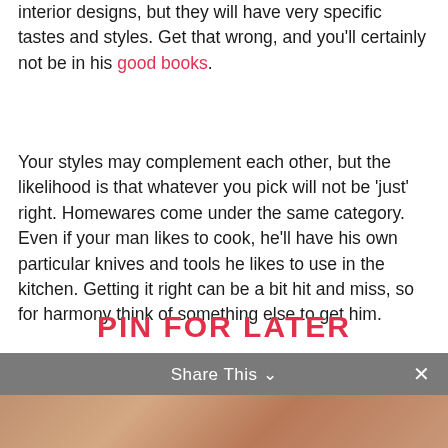interior designs, but they will have very specific tastes and styles. Get that wrong, and you'll certainly not be in his good books.
Your styles may complement each other, but the likelihood is that whatever you pick will not be 'just' right. Homewares come under the same category. Even if your man likes to cook, he'll have his own particular knives and tools he likes to use in the kitchen. Getting it right can be a bit hit and miss, so for harmony think of something else to get him.
PIN FOR LATER
Share This ∨  ×